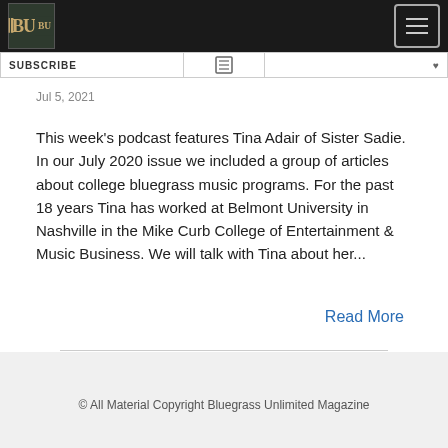BU Logo and navigation bar
Jul 5, 2021
This week's podcast features Tina Adair of Sister Sadie.  In our July 2020 issue we included a group of articles about college bluegrass music programs.  For the past 18 years Tina has worked at Belmont University in Nashville in the Mike Curb College of Entertainment & Music Business.  We will talk with Tina about her...
Read More
© All Material Copyright Bluegrass Unlimited Magazine